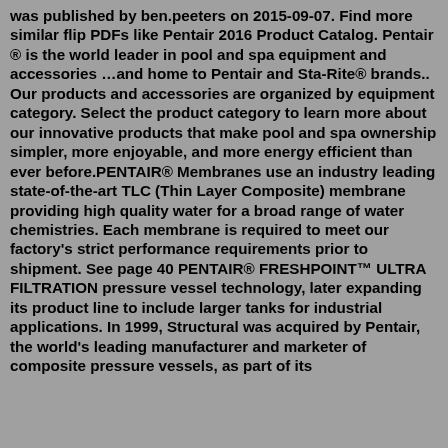was published by ben.peeters on 2015-09-07. Find more similar flip PDFs like Pentair 2016 Product Catalog. Pentair ® is the world leader in pool and spa equipment and accessories …and home to Pentair and Sta-Rite® brands.. Our products and accessories are organized by equipment category. Select the product category to learn more about our innovative products that make pool and spa ownership simpler, more enjoyable, and more energy efficient than ever before.PENTAIR® Membranes use an industry leading state-of-the-art TLC (Thin Layer Composite) membrane providing high quality water for a broad range of water chemistries. Each membrane is required to meet our factory's strict performance requirements prior to shipment. See page 40 PENTAIR® FRESHPOINT™ ULTRA FILTRATION pressure vessel technology, later expanding its product line to include larger tanks for industrial applications. In 1999, Structural was acquired by Pentair, the world's leading manufacturer and marketer of composite pressure vessels, as part of its